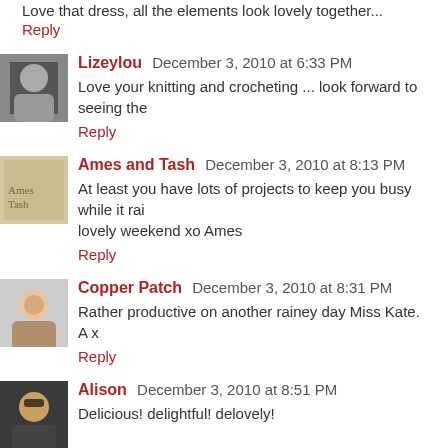Love that dress, all the elements look lovely together...
Reply
Lizeylou  December 3, 2010 at 6:33 PM
Love your knitting and crocheting ... look forward to seeing the
Reply
Ames and Tash  December 3, 2010 at 8:13 PM
At least you have lots of projects to keep you busy while it rai... lovely weekend xo Ames
Reply
Copper Patch  December 3, 2010 at 8:31 PM
Rather productive on another rainey day Miss Kate.
A x
Reply
Alison  December 3, 2010 at 8:51 PM
Delicious! delightful! delovely!